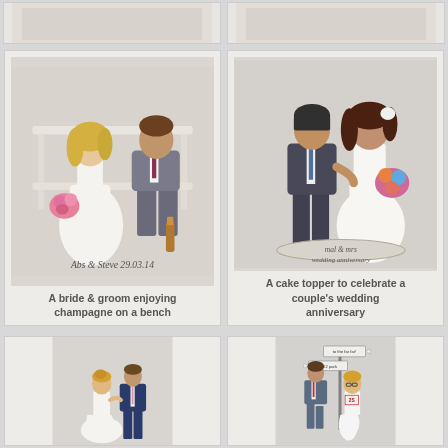[Figure (photo): Top partial crop of two wedding cake topper cards, partially visible at top of page]
[Figure (photo): Clay figurine cake topper: bride with blonde hair and groom sitting on a bench, holding champagne. Base reads 'Abs & Steve 29.03.14']
A bride & groom enjoying champagne on a bench
[Figure (photo): Clay figurine cake topper: couple standing, groom in dark suit, bride in white dress holding bouquet. Base reads 'mal & mrs wedding anniversary']
A cake topper to celebrate a couple's wedding anniversary
[Figure (photo): Clay figurine cake topper: bride in white dress and groom in navy suit dancing together]
[Figure (photo): Clay figurine cake topper: couple running past signpost with directional signs]